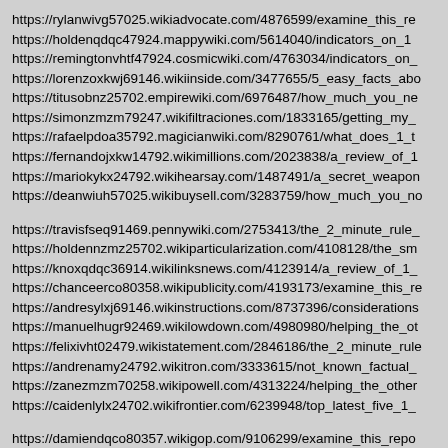https://rylanwivg57025.wikiadvocate.com/4876599/examine_this_re
https://holdenqdqc47924.mappywiki.com/5614040/indicators_on_1
https://remingtonvhtf47924.cosmicwiki.com/4763034/indicators_on_
https://lorenzoxkwj69146.wikiinside.com/3477655/5_easy_facts_abo
https://titusobnz25702.empirewiki.com/6976487/how_much_you_ne
https://simonzmzm79247.wikifiltraciones.com/1833165/getting_my_
https://rafaelpdoa35792.magicianwiki.com/8290761/what_does_1_t
https://fernandojxkw14792.wikimillions.com/2023838/a_review_of_1
https://mariokykx24792.wikihearsay.com/1487491/a_secret_weapon
https://deanwiuh57025.wikibuysell.com/3283759/how_much_you_no
https://travisfseq91469.pennywiki.com/2753413/the_2_minute_rule_
https://holdennzmz25702.wikiparticularization.com/4108128/the_sm
https://knoxqdqc36914.wikilinksnews.com/4123914/a_review_of_1_
https://chanceerco80358.wikipublicity.com/4193173/examine_this_re
https://andresylxj69146.wikinstructions.com/8737396/considerations
https://manuelhugr92469.wikilowdown.com/4980980/helping_the_ot
https://felixivht02479.wikistatement.com/2846186/the_2_minute_rule
https://andrenamy24792.wikitron.com/3333615/not_known_factual_
https://zanezmzm70258.wikipowell.com/4313224/helping_the_other
https://caidenlylx24702.wikifrontier.com/6239948/top_latest_five_1_
https://damiendqco80357.wikigop.com/9106299/examine_this_repo
https://edwinqdqc36813.wikiannouncing.com/3966460/the_basic_pr
https://chancedqbo70257.wikirecognition.com/4898381/a_review_of
https://keegananzl79146.wikienlightenment.com/5799709/the_basic